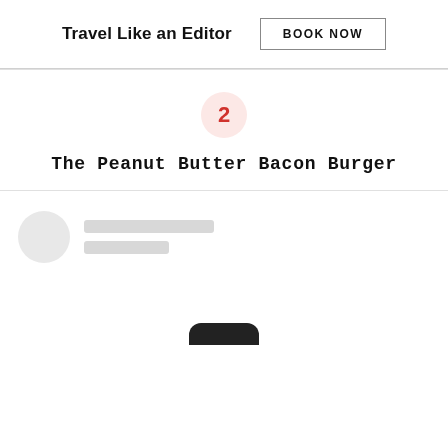Travel Like an Editor  BOOK NOW
2
The Peanut Butter Bacon Burger
[Figure (other): Loading card placeholder with circular avatar and two grey text lines]
[Figure (other): Bottom tab bar icon, dark pill shape at bottom of page]